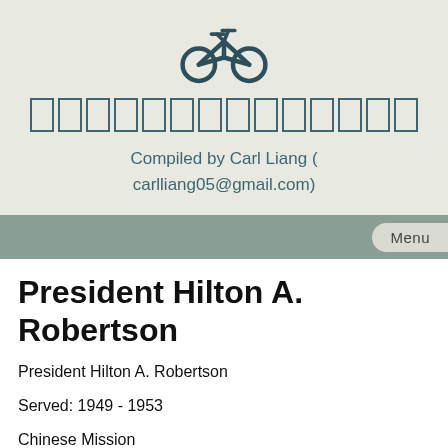[Figure (illustration): Bicycle icon in dark teal color]
□□□□□□□□□□□□□□
Compiled by Carl Liang ( carlliang05@gmail.com)
Menu
President Hilton A. Robertson
President Hilton A. Robertson
Served: 1949 - 1953
Chinese Mission
President and Sister Hilton A. Robertson were first called as